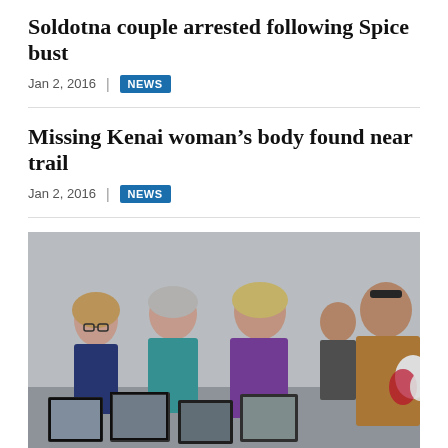Soldotna couple arrested following Spice bust
Jan 2, 2016  |  NEWS
Missing Kenai woman’s body found near trail
Jan 2, 2016  |  NEWS
[Figure (photo): Group of people standing at a memorial or vigil looking at framed photographs. A young woman with glasses on left, an older woman in teal vest, a woman in purple jacket, and a man in a tan jacket on right. Several framed photos visible in foreground.]